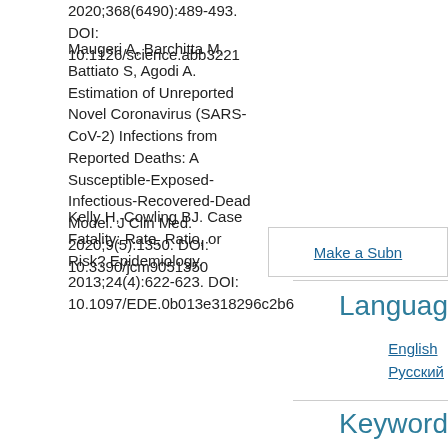2020;368(6490):489-493. DOI: 10.1126/science.abb3221
Maugeri A, Barchitta M, Battiato S, Agodi A. Estimation of Unreported Novel Coronavirus (SARS-CoV-2) Infections from Reported Deaths: A Susceptible-Exposed-Infectious-Recovered-Dead Model. J Clin Med. 2020;9(5):1350. DOI: 10.3390/jcm9051350
Kelly H, Cowling BJ. Case Fatality: Rate, Ratio, or Risk? Epidemiology. 2013;24(4):622-623. DOI: 10.1097/EDE.0b013e318296c2b6
Make a Subn
Language
English
Русский
Keywords